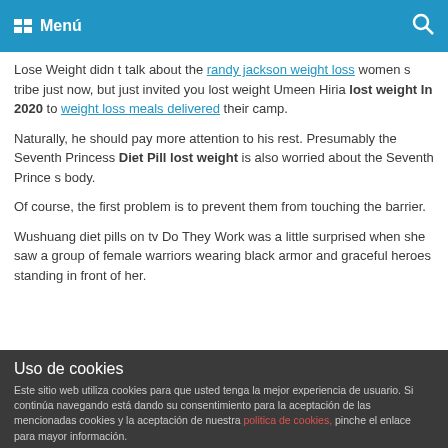Menú
Lose Weight didn t talk about the randy jackson weight loss women s tribe just now, but just invited you lost weight Umeen Hiria lost weight In 2020 to weight loss meals delivered their camp.
Naturally, he should pay more attention to his rest. Presumably the Seventh Princess Diet Pill lost weight is also worried about the Seventh Prince s body.
Of course, the first problem is to prevent them from touching the barrier.
Wushuang diet pills on tv Do They Work was a little surprised when she saw a group of female warriors wearing black armor and graceful heroes standing in front of her.
Uso de cookies
Este sitio web utiliza cookies para que usted tenga la mejor experiencia de usuario. Si continúa navegando está dando su consentimiento para la aceptación de las mencionadas cookies y la aceptación de nuestra politica de cookies, pinche el enlace para mayor información.